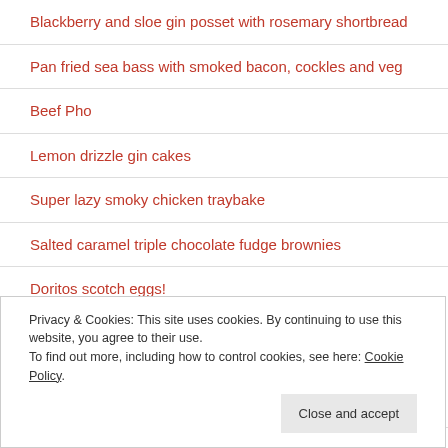Blackberry and sloe gin posset with rosemary shortbread
Pan fried sea bass with smoked bacon, cockles and veg
Beef Pho
Lemon drizzle gin cakes
Super lazy smoky chicken traybake
Salted caramel triple chocolate fudge brownies
Doritos scotch eggs!
Privacy & Cookies: This site uses cookies. By continuing to use this website, you agree to their use. To find out more, including how to control cookies, see here: Cookie Policy
Simple roasted leeks with smoked Lincolnshire Poacher cheese